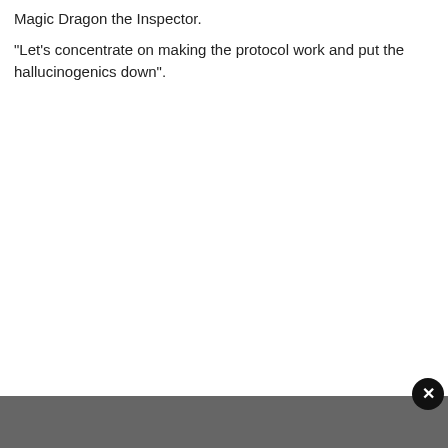Magic Dragon the Inspector.
“Let’s concentrate on making the protocol work and put the hallucinogenics down”.